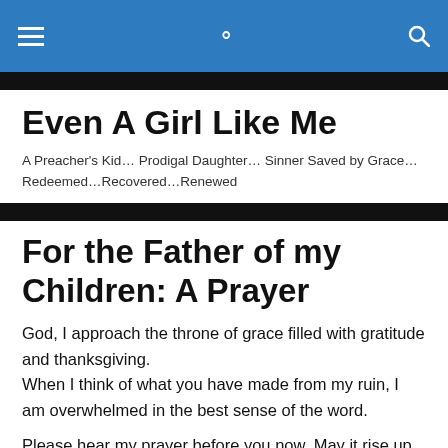Even A Girl Like Me — navigation bar with menu and search icons
Even A Girl Like Me
A Preacher's Kid… Prodigal Daughter… Sinner Saved by Grace… Redeemed…Recovered…Renewed
For the Father of my Children: A Prayer
God, I approach the throne of grace filled with gratitude and thanksgiving.
When I think of what you have made from my ruin, I am overwhelmed in the best sense of the word.
Please hear my prayer before you now. May it rise up and